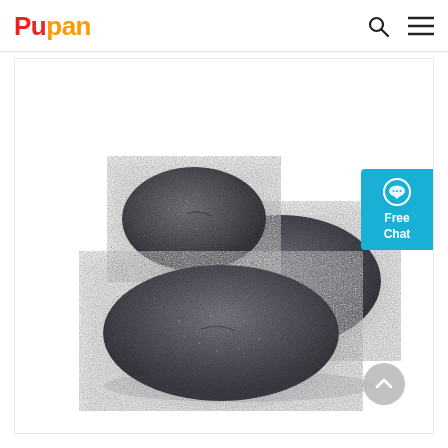Pupan
[Figure (photo): Three dark gray rounded stone-like objects (briquettes or mineral stones) grouped together on a white background. The stones have a rough, granular texture and are roughly oval/disc-shaped.]